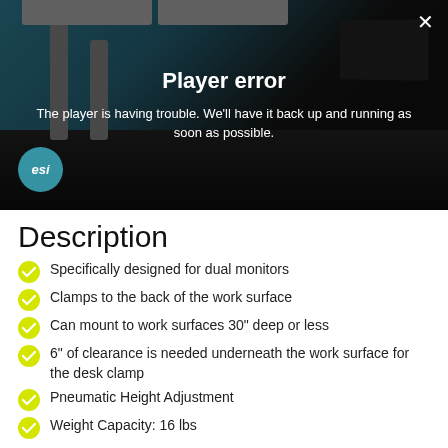[Figure (screenshot): Video player showing a standing desk with dual monitor arm. Player error overlay displayed with close button (×) in top right corner. ESI logo visible in bottom left corner.]
Player error
The player is having trouble. We'll have it back up and running as soon as possible.
Description
Specifically designed for dual monitors
Clamps to the back of the work surface
Can mount to work surfaces 30" deep or less
6" of clearance is needed underneath the work surface for the desk clamp
Pneumatic Height Adjustment
Weight Capacity: 16 lbs